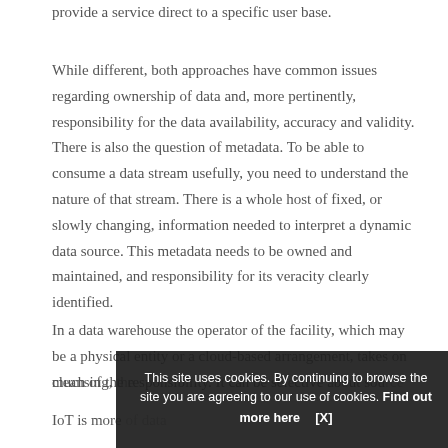provide a service direct to a specific user base.
While different, both approaches have common issues regarding ownership of data and, more pertinently, responsibility for the data availability, accuracy and validity. There is also the question of metadata. To be able to consume a data stream usefully, you need to understand the nature of that stream. There is a whole host of fixed, or slowly changing, information needed to interpret a dynamic data source. This metadata needs to be owned and maintained, and responsibility for its veracity clearly identified.
In a data warehouse the operator of the facility, which may be a physical entity or a cloud-based arrangement, takes on much of the responsibility. It can be selective about sou... cleansing,... the IoT is more...
This site uses cookies. By continuing to browse the site you are agreeing to our use of cookies. Find out more here [X]